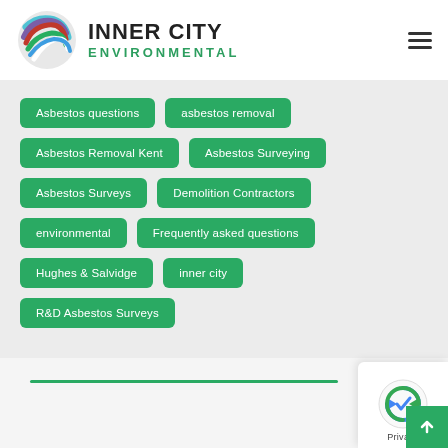[Figure (logo): Inner City Environmental logo with globe icon and company name]
Asbestos questions
asbestos removal
Asbestos Removal Kent
Asbestos Surveying
Asbestos Surveys
Demolition Contractors
environmental
Frequently asked questions
Hughes & Salvidge
inner city
R&D Asbestos Surveys
[Figure (other): reCAPTCHA privacy badge with up arrow button]